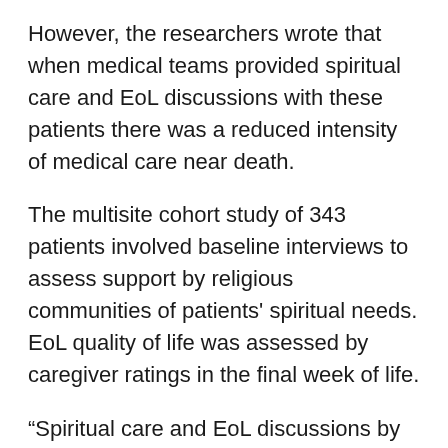However, the researchers wrote that when medical teams provided spiritual care and EoL discussions with these patients there was a reduced intensity of medical care near death.
The multisite cohort study of 343 patients involved baseline interviews to assess support by religious communities of patients' spiritual needs. EoL quality of life was assessed by caregiver ratings in the final week of life.
“Spiritual care and EoL discussions by the medical team may reduce aggressive treatment, highlighting spiritual care as a key component of EoL medical care guidelines”, the authors wrote.
Professor Yates said organised religious community support provided practical support that the health care system often neglected and that it could have benefits at times other than EoL